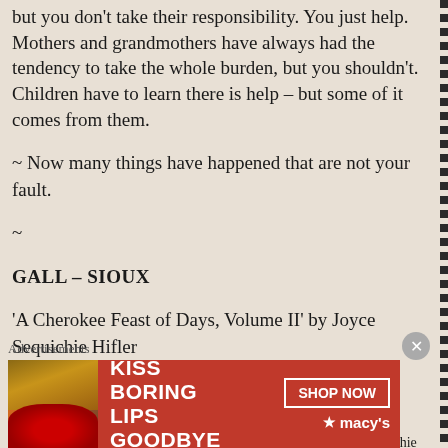but you don't take their responsibility. You just help. Mothers and grandmothers have always had the tendency to take the whole burden, but you shouldn't. Children have to learn there is help – but some of it comes from them.
~ Now many things have happened that are not your fault.
~
GALL – SIOUX
'A Cherokee Feast of Days, Volume II' by Joyce Sequichie Hifler
Posted on November 18, 2012 by ladyoftheabyss
Posted in Daily Posts
Tagged Arts, Authors, Cherokee, Feast of Days, Hifler, Joyce, Sequichie
[Figure (photo): Red advertisement banner for Macy's featuring 'KISS BORING LIPS GOODBYE' text with a woman's face and red lips, and a SHOP NOW button with Macy's star logo]